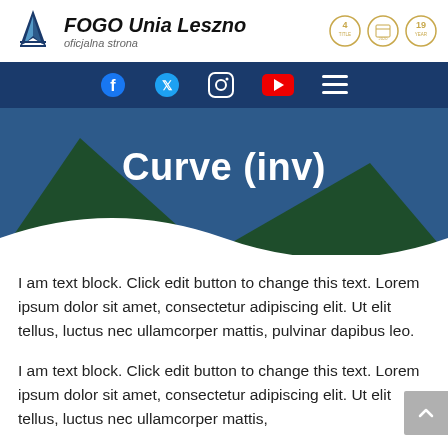FOGO Unia Leszno oficjalna strona
[Figure (screenshot): Website screenshot of FOGO Unia Leszno official page showing navigation bar with social media icons (Facebook, Twitter, Instagram, YouTube, hamburger menu), hero banner with 'Curve (inv)' title over blue and dark green triangle shapes with wave, and two lorem ipsum text blocks below.]
I am text block. Click edit button to change this text. Lorem ipsum dolor sit amet, consectetur adipiscing elit. Ut elit tellus, luctus nec ullamcorper mattis, pulvinar dapibus leo.
I am text block. Click edit button to change this text. Lorem ipsum dolor sit amet, consectetur adipiscing elit. Ut elit tellus, luctus nec ullamcorper mattis,